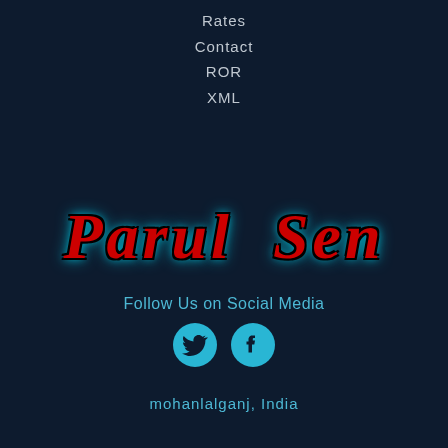Rates
Contact
ROR
XML
Parul Sen
Follow Us on Social Media
[Figure (illustration): Twitter and Facebook social media icons as cyan circles with dark bird and f logos]
mohanlalganj, India